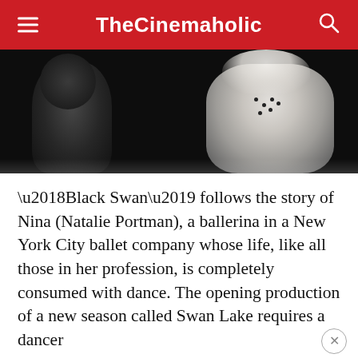TheCinemaholic
[Figure (photo): Two ballet dancers in costumes against a dark background. One dancer on the right wears white feathered attire with jeweled embellishments.]
‘Black Swan’ follows the story of Nina (Natalie Portman), a ballerina in a New York City ballet company whose life, like all those in her profession, is completely consumed with dance. The opening production of a new season called Swan Lake requires a dancer who can play both the White Swan with innocence and grace and the Black Swan, who represents guile and sensuality. Nina fits the White Swan role perfectly but Lily is ideally